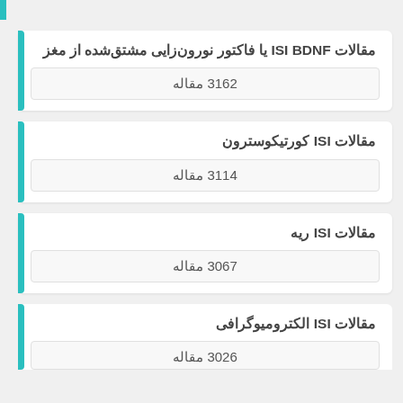مقالات ISI BDNF یا فاکتور نورون‌زایی مشتق‌شده از مغز
3162 مقاله
مقالات ISI کورتیکوسترون
3114 مقاله
مقالات ISI ریه
3067 مقاله
مقالات ISI الکترومیوگرافی
3026 مقاله